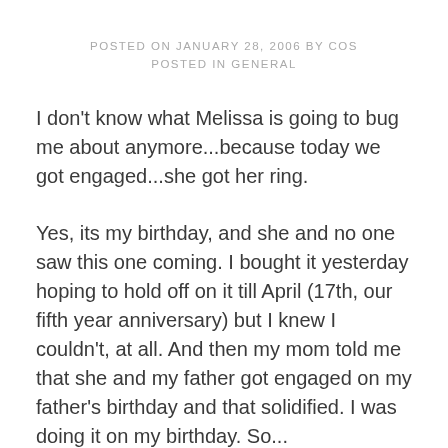POSTED ON JANUARY 28, 2006 BY COS
POSTED IN GENERAL
I don't know what Melissa is going to bug me about anymore...because today we got engaged...she got her ring.
Yes, its my birthday, and she and no one saw this one coming. I bought it yesterday hoping to hold off on it till April (17th, our fifth year anniversary) but I knew I couldn't, at all. And then my mom told me that she and my father got engaged on my father's birthday and that solidified. I was doing it on my birthday. So...